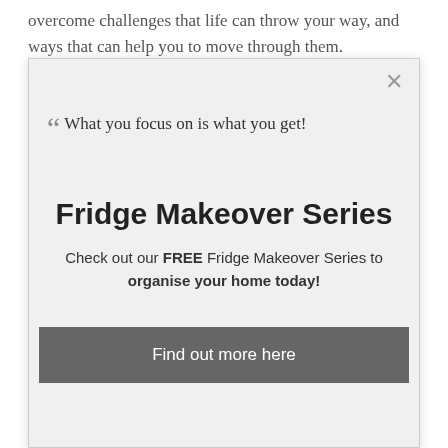overcome challenges that life can throw your way, and ways that can help you to move through them.
[Figure (screenshot): A modal popup overlay with a quote, the title 'Fridge Makeover Series', promotional text about a free series, and a 'Find out more here' button. Behind the modal is partially visible article text including a section header '1. The power of focus' and body text about focus.]
1. The power of focus
What you focus on is what you get, and in a nutshell it is literally that.
If you focus on clutter, or on how that mountain feels impossible to climb, that magnifies, compared to focusing on the end result, which could be that clear and clean room, to getting to the top of that mountain.
A great skill to help in overcoming a challenge is to begin with what you are focusing on, and look at where you need to focus in order to achieve a particular outcome or